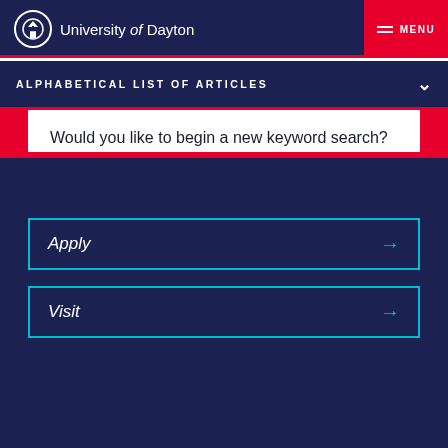University of Dayton — MENU
ALPHABETICAL LIST OF ARTICLES
Would you like to begin a new keyword search?
Get Started
Apply  →
Visit  →